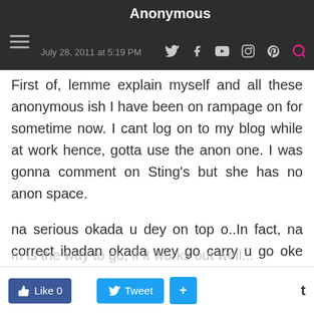Anonymous — July 28, 2011 at 5:19 PM
First of, lemme explain myself and all these anonymous ish I have been on rampage on for sometime now. I cant log on to my blog while at work hence, gotta use the anon one. I was gonna comment on Sting's but she has no anon space.
na serious okada u dey on top o..In fact, na correct ibadan okada wey go carry u go oke paadi, agbeni before dropping you off at molete....For qwhat na?! If I met you as a buddhist and liked u, chances are that that is one of the attracting forces.So if after a while you decide that confucianism
Like 0   Tweet   +   t